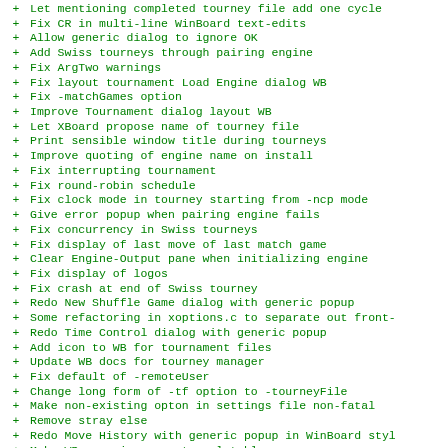+ Let mentioning completed tourney file add one cycle
+ Fix CR in multi-line WinBoard text-edits
+ Allow generic dialog to ignore OK
+ Add Swiss tourneys through pairing engine
+ Fix ArgTwo warnings
+ Fix layout tournament Load Engine dialog WB
+ Fix -matchGames option
+ Improve Tournament dialog layout WB
+ Let XBoard propose name of tourney file
+ Print sensible window title during tourneys
+ Improve quoting of engine name on install
+ Fix interrupting tournament
+ Fix round-robin schedule
+ Fix clock mode in tourney starting from -ncp mode
+ Give error popup when pairing engine fails
+ Fix concurrency in Swiss tourneys
+ Fix display of last move of last match game
+ Clear Engine-Output pane when initializing engine
+ Fix display of logos
+ Fix crash at end of Swiss tourney
+ Redo New Shuffle Game dialog with generic popup
+ Some refactoring in xoptions.c to separate out front-
+ Redo Time Control dialog with generic popup
+ Add icon to WB for tournament files
+ Update WB docs for tourney manager
+ Fix default of -remoteUser
+ Change long form of -tf option to -tourneyFile
+ Make non-existing opton in settings file non-fatal
+ Remove stray else
+ Redo Move History with generic popup in WinBoard styl
+ Make WB generic popup translatable
+ Update window itle after last game of match
+ Add Score in Move list option to general options di